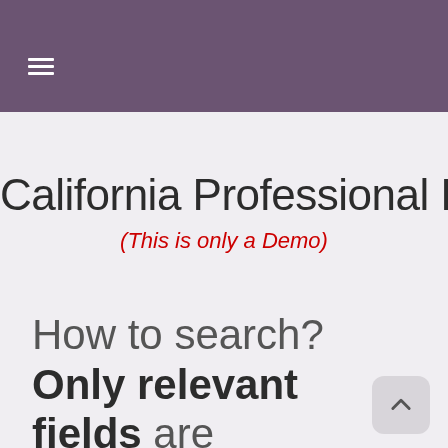≡
California Professional License
(This is only a Demo)
How to search? Only relevant fields are searchable